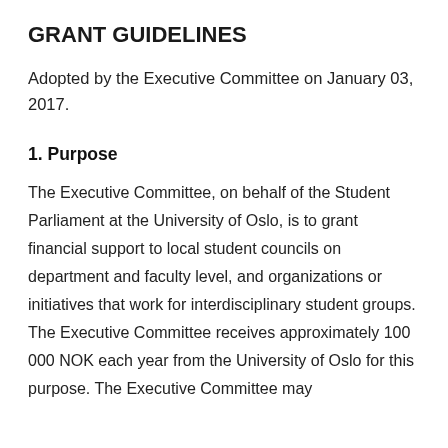GRANT GUIDELINES
Adopted by the Executive Committee on January 03, 2017.
1. Purpose
The Executive Committee, on behalf of the Student Parliament at the University of Oslo, is to grant financial support to local student councils on department and faculty level, and organizations or initiatives that work for interdisciplinary student groups. The Executive Committee receives approximately 100 000 NOK each year from the University of Oslo for this purpose. The Executive Committee may